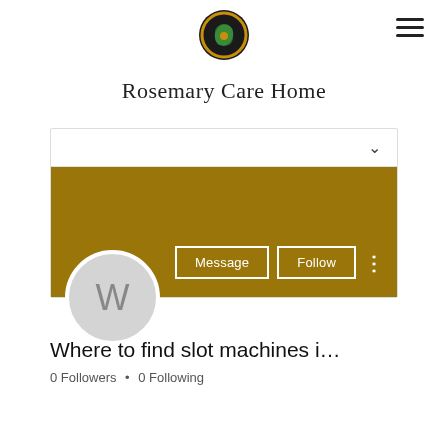[Figure (logo): Rosemary Care Home circular logo — gold/brown ring with a green leaf motif on black background]
Rosemary Care Home
[Figure (screenshot): Social media profile card with gold banner, avatar circle showing 'W', Message and Follow buttons, username 'Where to find slot machines i...', 0 Followers, 0 Following]
Where to find slot machines i…
0 Followers • 0 Following